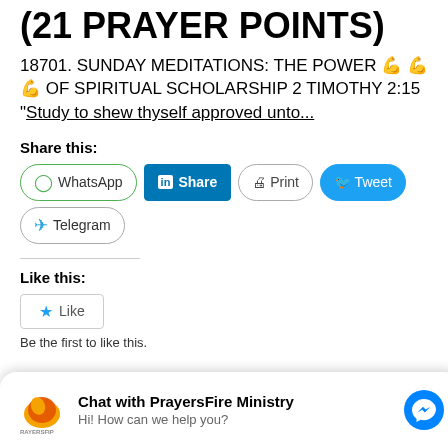(21 PRAYER POINTS)
18701. SUNDAY MEDITATIONS: THE POWER 💪💪💪 OF SPIRITUAL SCHOLARSHIP 2 TIMOTHY 2:15 "Study to shew thyself approved unto...
Share this:
[Figure (screenshot): Social share buttons: WhatsApp, LinkedIn Share, Print, Tweet, Telegram]
Like this:
[Figure (screenshot): Like button widget with star icon and text 'Be the first to like this.']
[Figure (screenshot): Blue block with number 10 visible at bottom]
[Figure (screenshot): Chat widget: Chat with PrayersFire Ministry. Hi! How can we help you?]